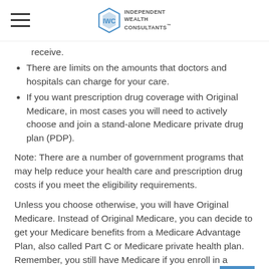Independent Wealth Consultants
receive.
There are limits on the amounts that doctors and hospitals can charge for your care.
If you want prescription drug coverage with Original Medicare, in most cases you will need to actively choose and join a stand-alone Medicare private drug plan (PDP).
Note: There are a number of government programs that may help reduce your health care and prescription drug costs if you meet the eligibility requirements.
Unless you choose otherwise, you will have Original Medicare. Instead of Original Medicare, you can decide to get your Medicare benefits from a Medicare Advantage Plan, also called Part C or Medicare private health plan. Remember, you still have Medicare if you enroll in a Medicare Advantage Plan. This means that you must pay your monthly Part B premium (and your Part A